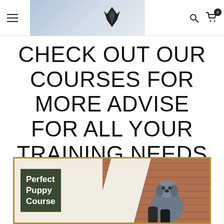Navigation bar with hamburger menu, wolf logo, search icon, and cart (0)
CHECK OUT OUR COURSES FOR MORE ADVISE FOR ALL YOUR TRAINING NEEDS
[Figure (photo): Perfect Puppy Course promotional card with golden border, dark green label with white bold text 'Perfect Puppy Course', hexagon accent, and photo of grey Labrador puppy sitting against brick wall]